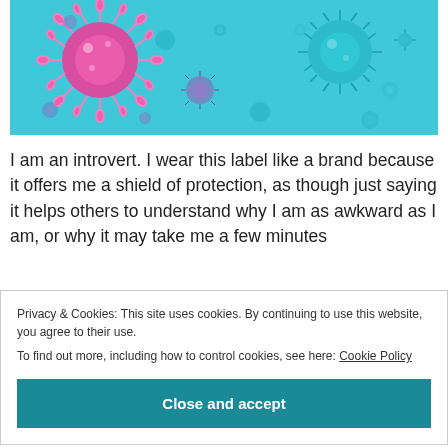[Figure (photo): Illustration of colorful coronavirus/virus particles on a teal/cyan background. A large pink spiky virus is prominent on the left, and a teal virus on the right, with many smaller translucent virus particles scattered throughout.]
I am an introvert. I wear this label like a brand because it offers me a shield of protection, as though just saying it helps others to understand why I am as awkward as I am, or why it may take me a few minutes
Privacy & Cookies: This site uses cookies. By continuing to use this website, you agree to their use.
To find out more, including how to control cookies, see here: Cookie Policy
Close and accept
at home sharing the same walls and breathing the